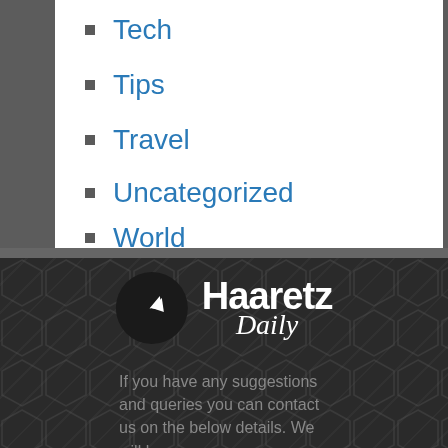Tech
Tips
Travel
Uncategorized
World
[Figure (logo): Haaretz Daily logo: black circle with white paper-plane arrow icon, followed by bold white 'Haaretz' and italic white 'Daily' text]
If you have any suggestions and queries you can contact us on the below details. We will be